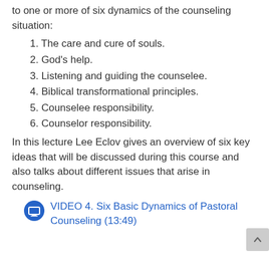to one or more of six dynamics of the counseling situation:
1. The care and cure of souls.
2. God's help.
3. Listening and guiding the counselee.
4. Biblical transformational principles.
5. Counselee responsibility.
6. Counselor responsibility.
In this lecture Lee Eclov gives an overview of six key ideas that will be discussed during this course and also talks about different issues that arise in counseling.
[Figure (other): Blue circle icon with monitor/screen symbol, followed by a video link text: VIDEO 4. Six Basic Dynamics of Pastoral Counseling (13:49)]